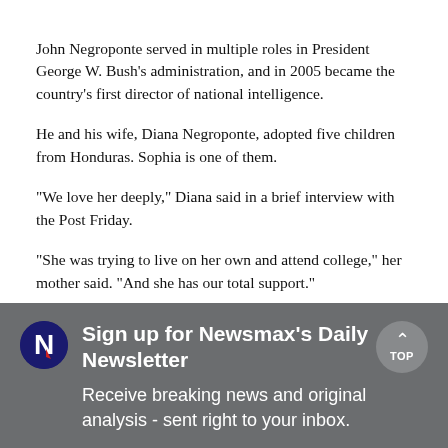John Negroponte served in multiple roles in President George W. Bush’s administration, and in 2005 became the country’s first director of national intelligence.
He and his wife, Diana Negroponte, adopted five children from Honduras. Sophia is one of them.
“We love her deeply,” Diana said in a brief interview with the Post Friday.
“She was trying to live on her own and attend college,” her mother said. “And she has our total support.”
[Figure (infographic): Newsmax newsletter sign-up banner with logo, title 'Sign up for Newsmax’s Daily Newsletter', and subtext 'Receive breaking news and original analysis - sent right to your inbox.']